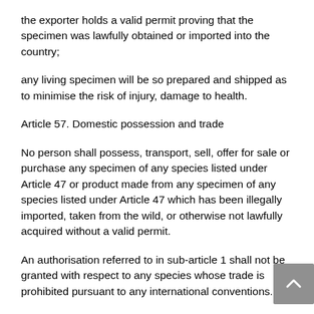the exporter holds a valid permit proving that the specimen was lawfully obtained or imported into the country;
any living specimen will be so prepared and shipped as to minimise the risk of injury, damage to health.
Article 57. Domestic possession and trade
No person shall possess, transport, sell, offer for sale or purchase any specimen of any species listed under Article 47 or product made from any specimen of any species listed under Article 47 which has been illegally imported, taken from the wild, or otherwise not lawfully acquired without a valid permit.
An authorisation referred to in sub-article 1 shall not be granted with respect to any species whose trade is prohibited pursuant to any international conventions.